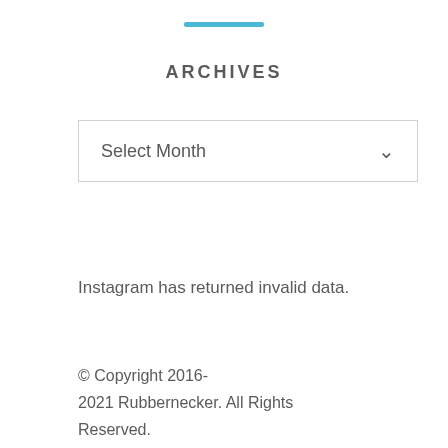ARCHIVES
Select Month
Instagram has returned invalid data.
© Copyright 2016-2021 Rubbernecker. All Rights Reserved.